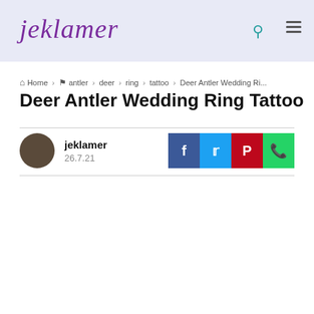-->
[Figure (logo): jeklamer script logo in purple italic font on light lavender header bar with search and menu icons]
Home > antler > deer > ring > tattoo > Deer Antler Wedding Ri...
Deer Antler Wedding Ring Tattoo
jeklamer
26.7.21